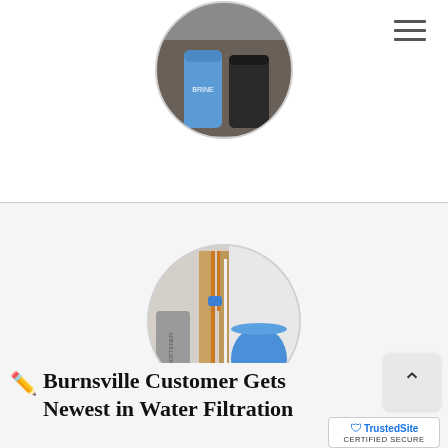[Figure (photo): Circular photo showing water filtration equipment — blue and black cylindrical tanks in a utility area]
[Figure (photo): Circular photo showing water filtration system installation with pipes, valves, and a blue tank in a basement utility area]
Burnsville Customer Gets Newest in Water Filtration